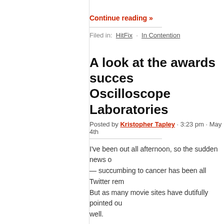Continue reading »
Filed in: HitFix · In Contention
A look at the awards success of Oscilloscope Laboratories
Posted by Kristopher Tapley · 3:23 pm · May 4th
I've been out all afternoon, so the sudden news of — succumbing to cancer has been all Twitter rem... But as many movie sites have dutifully pointed ou... well.
Continue reading »
Filed in: HitFix · In Contention